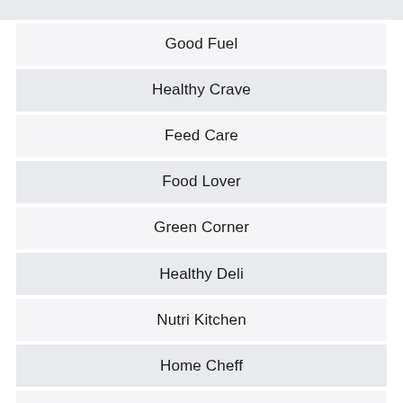Good Fuel
Healthy Crave
Feed Care
Food Lover
Green Corner
Healthy Deli
Nutri Kitchen
Home Cheff